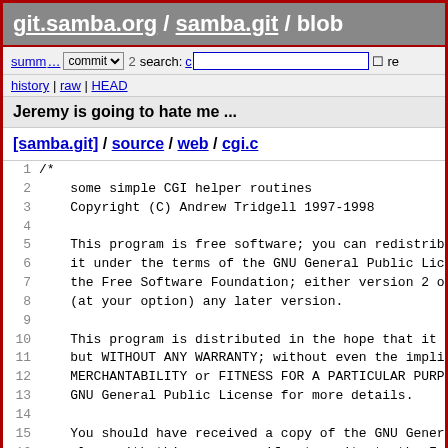git.samba.org / samba.git / blob
summ... commit [dropdown] 2 search: [input] re
history | raw | HEAD
Jeremy is going to hate me ...
[samba.git] / source / web / cgi.c
1  /*
2      some simple CGI helper routines
3      Copyright (C) Andrew Tridgell 1997-1998
4
5      This program is free software; you can redistribute
6      it under the terms of the GNU General Public License
7      the Free Software Foundation; either version 2 of th
8      (at your option) any later version.
9
10     This program is distributed in the hope that it will
11     but WITHOUT ANY WARRANTY; without even the implied w
12     MERCHANTABILITY or FITNESS FOR A PARTICULAR PURPOSE
13     GNU General Public License for more details.
14
15     You should have received a copy of the GNU General P
16     along with this program; if not, write to the Free S
17     Foundation, Inc., 675 Mass Ave, Cambridge, MA 02139,
18 */
19